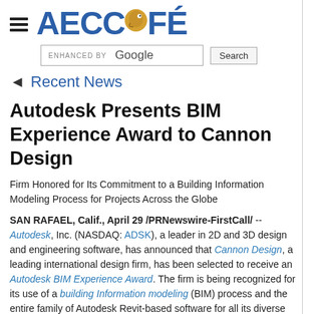AECCafé
◄ Recent News
Autodesk Presents BIM Experience Award to Cannon Design
Firm Honored for Its Commitment to a Building Information Modeling Process for Projects Across the Globe
SAN RAFAEL, Calif., April 29 /PRNewswire-FirstCall/ -- Autodesk, Inc. (NASDAQ: ADSK), a leader in 2D and 3D design and engineering software, has announced that Cannon Design, a leading international design firm, has been selected to receive an Autodesk BIM Experience Award. The firm is being recognized for its use of a building Information modeling (BIM) process and the entire family of Autodesk Revit-based software for all its diverse international projects, from the Ordos Music Hall in China to the Buffalo State College Science Building in Buffalo, New York.
"Since our adoption of BIM back in 2007, when we